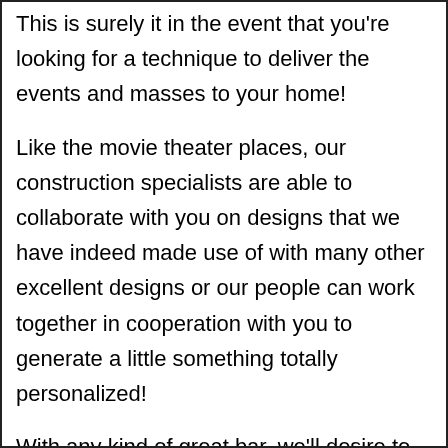This is surely it in the event that you're looking for a technique to deliver the events and masses to your home!
Like the movie theater places, our construction specialists are able to collaborate with you on designs that we have indeed made use of with many other excellent designs or our people can work together in cooperation with you to generate a little something totally personalized!
With any kind of great bar, we'll desire to ensure that the bar utilizes the proper refrigeration, drinks, television systems for the big games, and also